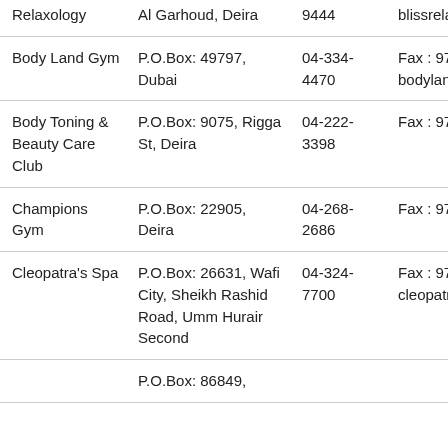| Name | Address | Phone | Contact |
| --- | --- | --- | --- |
| Relaxology | Al Garhoud, Deira | 9444 | blissrelaxolog |
| Body Land Gym | P.O.Box: 49797, Dubai | 04-334-4470 | Fax : 971 (4) :
bodyland@em |
| Body Toning & Beauty Care Club | P.O.Box: 9075, Rigga St, Deira | 04-222-3398 | Fax : 971 (4) : |
| Champions Gym | P.O.Box: 22905, Deira | 04-268-2686 | Fax : 971 (4) : |
| Cleopatra's Spa | P.O.Box: 26631, Wafi City, Sheikh Rashid Road, Umm Hurair Second | 04-324-7700 | Fax : 971 (4) :
cleopatras.sp |
|  | P.O.Box: 86849, |  |  |